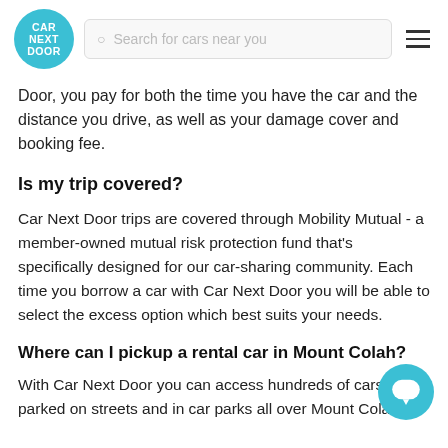[Figure (logo): Car Next Door circular teal logo with white text]
Search for cars near you
Door, you pay for both the time you have the car and the distance you drive, as well as your damage cover and booking fee.
Is my trip covered?
Car Next Door trips are covered through Mobility Mutual - a member-owned mutual risk protection fund that's specifically designed for our car-sharing community. Each time you borrow a car with Car Next Door you will be able to select the excess option which best suits your needs.
Where can I pickup a rental car in Mount Colah?
With Car Next Door you can access hundreds of cars parked on streets and in car parks all over Mount Colah.